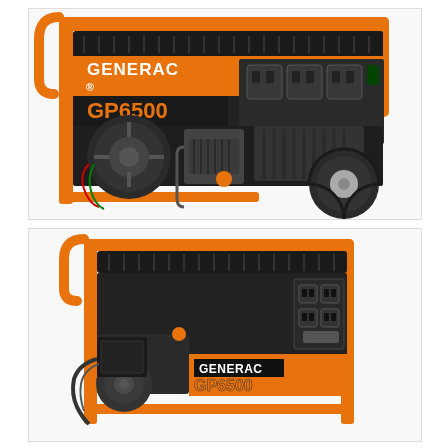[Figure (photo): Generac GP6500 portable generator, side/front view showing orange frame, black engine housing with GENERAC brand and GP6500 model label, power outlets panel on right side, large wheel visible, and engine components visible on front left]
[Figure (photo): Generac GP6500 portable generator, front/control panel view showing orange frame, black control panel with GENERAC brand and GP6500 model label, power outlet panel, engine and battery visible on left side]